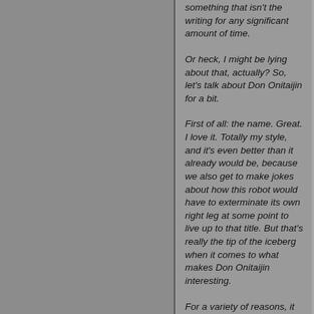something that isn't the writing for any significant amount of time.
Or heck, I might be lying about that, actually? So, let's talk about Don Onitaijin for a bit.
First of all: the name. Great. I love it. Totally my style, and it's even better than it already would be, because we also get to make jokes about how this robot would have to exterminate its own right leg at some point to live up to that title. But that's really the tip of the iceberg when it comes to what makes Don Onitaijin interesting.
For a variety of reasons, it is extraordinarily evident that